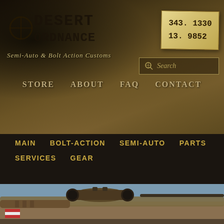[Figure (screenshot): Desert Ordnance website header with dark and tan textured background, logo, phone numbers, navigation links (STORE, ABOUT, FAQ, CONTACT), search box, dark navigation bar with MAIN, BOLT-ACTION, SEMI-AUTO, PARTS, SERVICES, GEAR links, and a photo of a rifle scope and weapon in a desert environment]
DESERT ORDNANCE
343. 1330
13. 9852
Semi-Auto & Bolt Action Customs
STORE   ABOUT   FAQ   CONTACT
MAIN
BOLT-ACTION
SEMI-AUTO
PARTS
SERVICES
GEAR